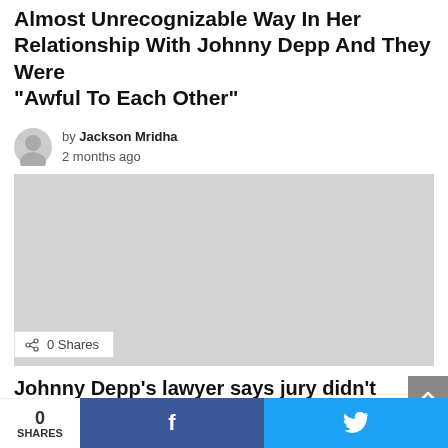Almost Unrecognizable  Way In Her Relationship With Johnny Depp And They Were “Awful To Each Other”
by Jackson Mridha
2 months ago
[Figure (photo): Large grey placeholder image block for an article photo]
0 Shares
Johnny Depp’s lawyer says jury didn’t believe
0 SHARES
f
♥